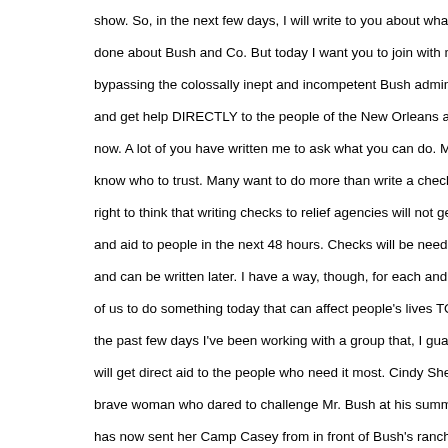show. So, in the next few days, I will write to you about what mu done about Bush and Co. But today I want you to join with me i bypassing the colossally inept and incompetent Bush administra and get help DIRECTLY to the people of the New Orleans area now. A lot of you have written me to ask what you can do. Many know who to trust. Many want to do more than write a check. Yo right to think that writing checks to relief agencies will not get w and aid to people in the next 48 hours. Checks will be needed la and can be written later. I have a way, though, for each and ever of us to do something today that can affect people's lives TODAY the past few days I've been working with a group that, I guarante will get direct aid to the people who need it most. Cindy Sheeha brave woman who dared to challenge Mr. Bush at his summer h has now sent her Camp Casey from in front of Bush's ranch to t outskirts of New Orleans. The Veterans for Peace have taken a equipment and staff of volunteers and set up camp in Covington Louisiana, on the shores of Lake Pontchartrain. They are accep materials and personally distributing them to those in need. This where we come in. We need to ship supplies to them immediate Today they need the following: Paper plates, paper towels, toile baby diapers, baby wipes, baby formula, Pedialyte, baby items i general, powder, lotion, handy wipes, sterile gloves, electrolytes LARGE cans of veggies, school supplies, and anything else to li people's spirits. You can ship these items by following the instru on VFPRoadTrips.org. Or you can deliver them there in person. roads to Covington are open. Here's how to get there. You can them off or you can stay and participate (if you stay, you'll be ca so bring your own tent and gear and mosquito spray). If you can these items or go there in person, then go to VFPRoadTrips.org make an immediate donation through PayPal. Camp Casey-Cov will have immediate access to this cash and can buy the items